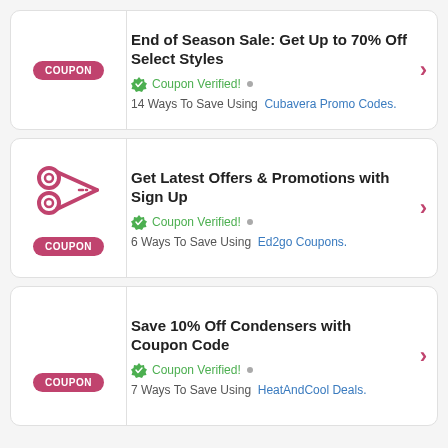End of Season Sale: Get Up to 70% Off Select Styles
Coupon Verified! • 14 Ways To Save Using Cubavera Promo Codes.
Get Latest Offers & Promotions with Sign Up
Coupon Verified! • 6 Ways To Save Using Ed2go Coupons.
Save 10% Off Condensers with Coupon Code
Coupon Verified! • 7 Ways To Save Using HeatAndCool Deals.